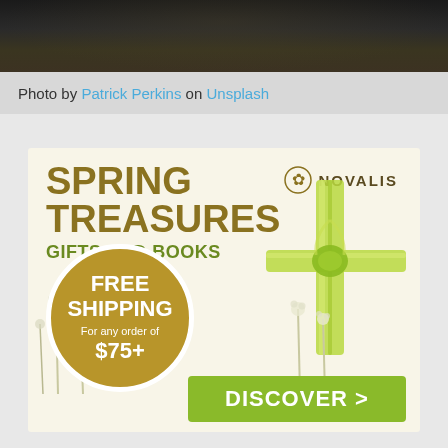[Figure (photo): Dark background photo strip at top of page]
Photo by Patrick Perkins on Unsplash
[Figure (illustration): Novalis Spring Treasures advertisement: Spring Treasures Gifts and Books, Free Shipping for any order of $75+, Discover > button, palm cross decoration, wildflowers, Novalis logo]